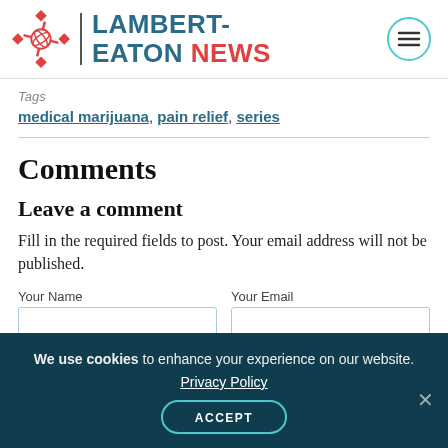LAMBERT-EATON NEWS
Tags
medical marijuana, pain relief, series
Comments
Leave a comment
Fill in the required fields to post. Your email address will not be published.
Your Name
Your Email
We use cookies to enhance your experience on our website. Privacy Policy ACCEPT